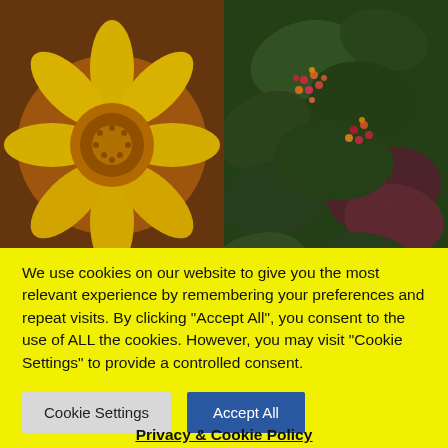[Figure (photo): Two photos side by side: left shows a yellow everlasting flower close-up with brown background; right shows a Lantana bush with red/pink/orange small flowers and dark green leaves. Overlay text reads 'What The Saints Did Next' on left and 'www.whatthesaintsdidnext.com' on right.]
More of the flora seen on the Flagstaff Post Box walk. Everlasting flowers (left) and the tough Lantana bush (right).
We use cookies on our website to give you the most relevant experience by remembering your preferences and repeat visits. By clicking “Accept All”, you consent to the use of ALL the cookies. However, you may visit "Cookie Settings" to provide a controlled consent.
Cookie Settings   Accept All
Privacy & Cookie Policy